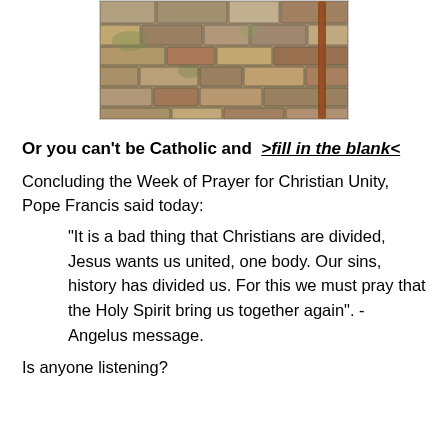[Figure (photo): Photo of an old stone wall with rough stones and what appears to be a metal rod or pipe visible on the right side.]
Or you can't be Catholic and  >fill in the blank<
Concluding the Week of Prayer for Christian Unity, Pope Francis said today:
“It is a bad thing that Christians are divided, Jesus wants us united, one body. Our sins, history has divided us. For this we must pray that the Holy Spirit bring us together again”. - Angelus message.
Is anyone listening?